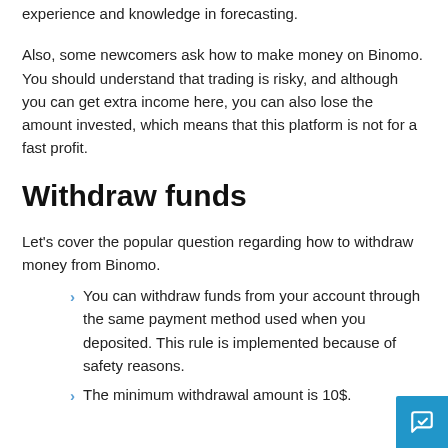experience and knowledge in forecasting.
Also, some newcomers ask how to make money on Binomo. You should understand that trading is risky, and although you can get extra income here, you can also lose the amount invested, which means that this platform is not for a fast profit.
Withdraw funds
Let's cover the popular question regarding how to withdraw money from Binomo.
You can withdraw funds from your account through the same payment method used when you deposited. This rule is implemented because of safety reasons.
The minimum withdrawal amount is 10$.